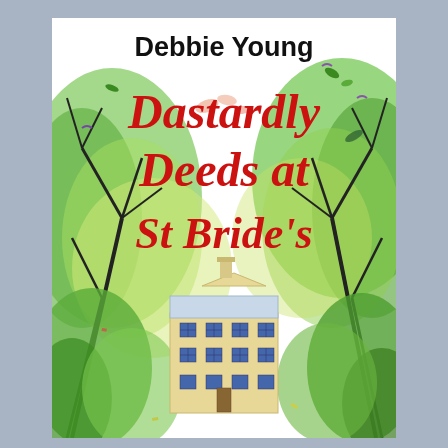[Figure (illustration): Book cover for 'Dastardly Deeds at St Bride's' by Debbie Young. Illustrated cover showing a large stone manor/school building in the lower center, surrounded by lush green trees with bare dark branches on both sides. Colorful scattered leaves and small decorative elements fill the background. The author name 'Debbie Young' appears at the top in bold black text, and the title 'Dastardly Deeds at St Bride's' appears in large red cursive/hand-lettered style font in the center.]